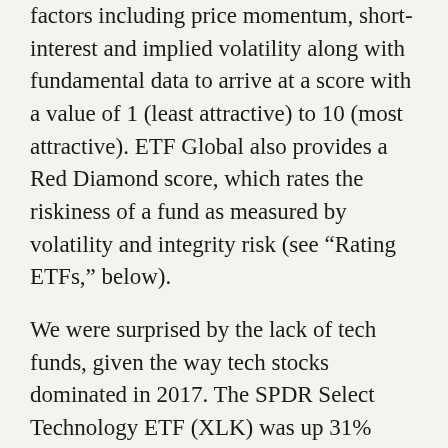factors including price momentum, short-interest and implied volatility along with fundamental data to arrive at a score with a value of 1 (least attractive) to 10 (most attractive). ETF Global also provides a Red Diamond score, which rates the riskiness of a fund as measured by volatility and integrity risk (see “Rating ETFs,” below).
We were surprised by the lack of tech funds, given the way tech stocks dominated in 2017. The SPDR Select Technology ETF (XLK) was up 31% through Dec. 1, while the smaller Powershares Nasdaq Internet ETF (PNQI) was up 36.5%, vs. 18% for the S&P 500. What stood out was the number of dividend or equity income funds, not exactly a space that anyone thinks of as overbought, that had low rankings. This conundrum might offer new users insight into how our system